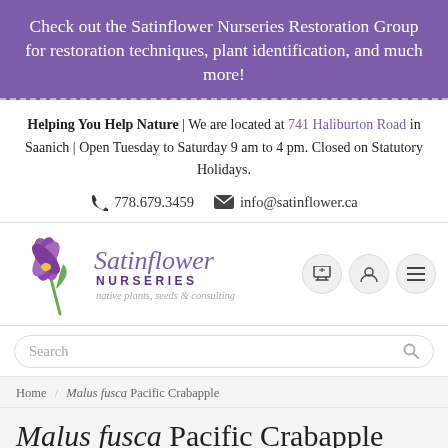Check out the Satinflower Nurseries Restoration Group for restoration techniques, plant identification, and much more!
Helping You Help Nature | We are located at 741 Haliburton Road in Saanich | Open Tuesday to Saturday 9 am to 4 pm. Closed on Statutory Holidays.
778.679.3459  info@satinflower.ca
[Figure (logo): Satinflower Nurseries logo with a purple crocus flower illustration, brand name in italic purple text, NURSERIES in bold uppercase, and tagline 'native plants, seeds & consulting']
Search
Home / Malus fusca Pacific Crabapple
Malus fusca Pacific Crabapple